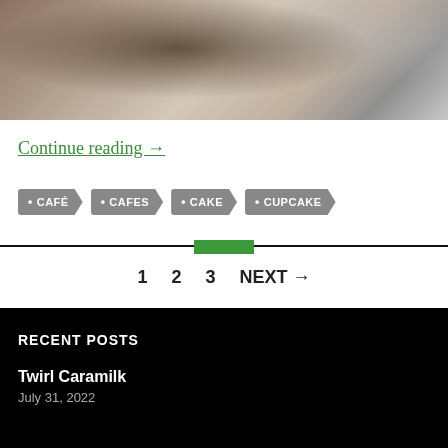[Figure (photo): Close-up photo of a cupcake or baked good from above, with metallic objects visible on the right side, brown and grey tones]
Continue reading →
• CAFÉ
• CAFES
• CAKE
• CUPCAKE
1   2   3   NEXT →
RECENT POSTS
Twirl Caramilk
July 31, 2022